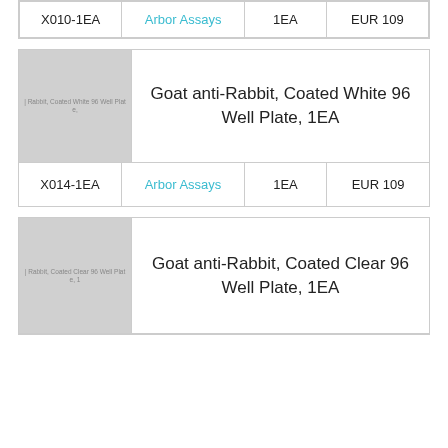| SKU | Supplier | Qty | Price |
| --- | --- | --- | --- |
| X010-1EA | Arbor Assays | 1EA | EUR 109 |
[Figure (photo): Product image placeholder for Goat anti-Rabbit Coated White 96 Well Plate]
Goat anti-Rabbit, Coated White 96 Well Plate, 1EA
| SKU | Supplier | Qty | Price |
| --- | --- | --- | --- |
| X014-1EA | Arbor Assays | 1EA | EUR 109 |
[Figure (photo): Product image placeholder for Goat anti-Rabbit Coated Clear 96 Well Plate]
Goat anti-Rabbit, Coated Clear 96 Well Plate, 1EA